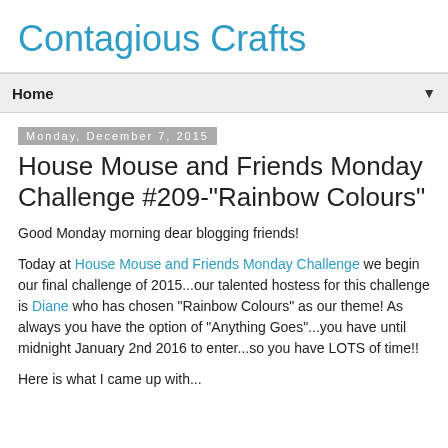Contagious Crafts
Home
Monday, December 7, 2015
House Mouse and Friends Monday Challenge #209-"Rainbow Colours"
Good Monday morning dear blogging friends!
Today at House Mouse and Friends Monday Challenge we begin our final challenge of 2015...our talented hostess for this challenge is Diane who has chosen "Rainbow Colours" as our theme!  As always you have the option of "Anything Goes"...you have until midnight January 2nd 2016 to enter...so you have LOTS of time!!
Here is what I came up with...